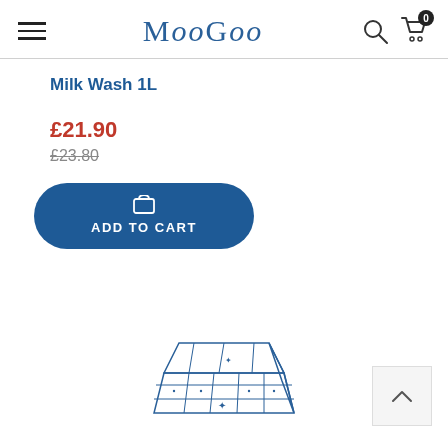MooGoo
Milk Wash 1L
£21.90
£23.80
ADD TO CART
[Figure (illustration): Line drawing illustration of a box/crate product, drawn in blue outline style, partially visible at the bottom of the page]